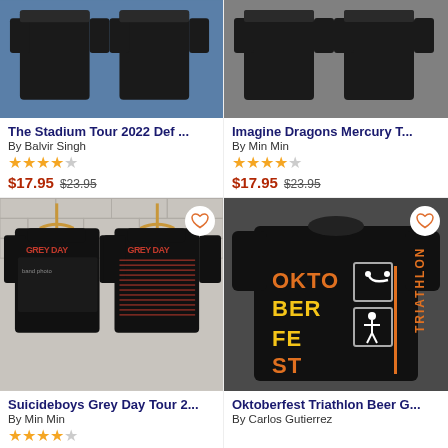[Figure (photo): Two black t-shirts on a blue background for The Stadium Tour 2022 Def product]
The Stadium Tour 2022 Def ...
By Balvir Singh
4 out of 5 stars
$17.95  $23.95
[Figure (photo): Two black t-shirts on a grey background for Imagine Dragons Mercury T product]
Imagine Dragons Mercury T...
By Min Min
4 out of 5 stars
$17.95  $23.95
[Figure (photo): Two Suicideboys Grey Day Tour t-shirts on white brick background, showing front and back of black shirts with band logo]
Suicideboys Grey Day Tour 2...
By Min Min
4 out of 5 stars
$17.95
[Figure (photo): Oktoberfest Triathlon Beer G product black t-shirt with orange and white OKTO BER FEST TRIATHLON graphic]
Oktoberfest Triathlon Beer G...
By Carlos Gutierrez
$12.95  $18.95